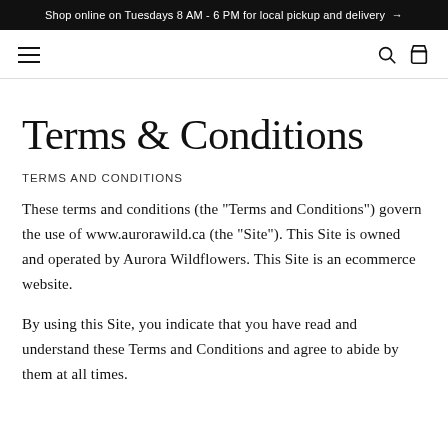Shop online on Tuesdays 8 AM - 6 PM for local pickup and delivery →
Terms & Conditions
TERMS AND CONDITIONS
These terms and conditions (the "Terms and Conditions") govern the use of www.aurorawild.ca (the "Site"). This Site is owned and operated by Aurora Wildflowers. This Site is an ecommerce website.
By using this Site, you indicate that you have read and understand these Terms and Conditions and agree to abide by them at all times.